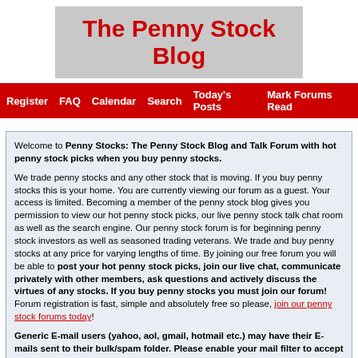The Penny Stock Blog
Register  FAQ  Calendar  Search  Today's Posts  Mark Forums Read
Welcome to Penny Stocks: The Penny Stock Blog and Talk Forum with hot penny stock picks when you buy penny stocks.

We trade penny stocks and any other stock that is moving. If you buy penny stocks this is your home. You are currently viewing our forum as a guest. Your access is limited. Becoming a member of the penny stock blog gives you permission to view our hot penny stock picks, our live penny stock talk chat room as well as the search engine. Our penny stock forum is for beginning penny stock investors as well as seasoned trading veterans. We trade and buy penny stocks at any price for varying lengths of time. By joining our free forum you will be able to post your hot penny stock picks, join our live chat, communicate privately with other members, ask questions and actively discuss the virtues of any stocks. If you buy penny stocks you must join our forum! Forum registration is fast, simple and absolutely free so please, join our penny stock forums today!

Generic E-mail users (yahoo, aol, gmail, hotmail etc.) may have their E-mails sent to their bulk/spam folder. Please enable your mail filter to accept mail from The Penny Stock Blog. If you have any problems with the registration process or your account login, please contact us. Thank you, The Penny Stock Blog and Forum.
Penny Stocks: The Penny Stock Blog and Talk Forum with hot penny stock picks when you buy penny stocks. > View Profile